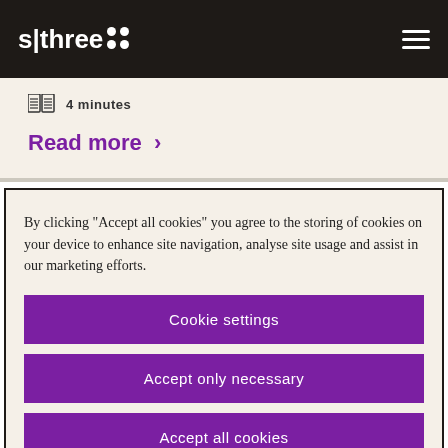s|three
4 minutes
Read more >
By clicking “Accept all cookies” you agree to the storing of cookies on your device to enhance site navigation, analyse site usage and assist in our marketing efforts.
Cookie settings
Accept only necessary
Accept all cookies